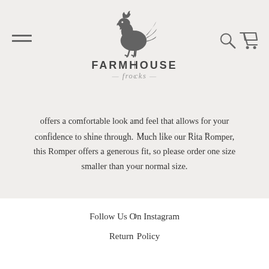[Figure (logo): Farmhouse Frocks logo with rooster silhouette and 'est. 2011' text]
offers a comfortable look and feel that allows for your confidence to shine through. Much like our Rita Romper, this Romper offers a generous fit, so please order one size smaller than your normal size.
SHOP LUCY ROMPER
Follow Us On Instagram
Return Policy
Care Instructions
Blog